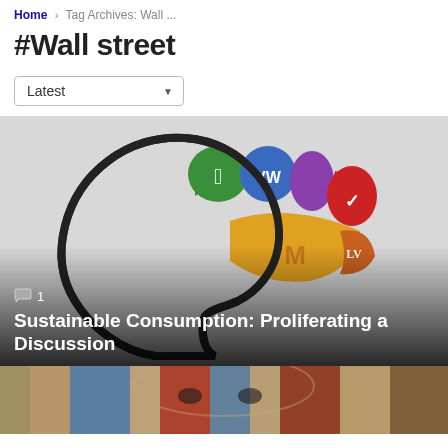Home › Tag Archives: Wall ...
#Wall street
Latest
[Figure (illustration): Illustration of a human head silhouette in profile with a pie-chart-style brain filled with brand logos: Apple (green), Volkswagen (blue), a purple section, Nike (red), McDonald's (yellow/gold), and Louis Vuitton (brown/orange).]
💬 1
Sustainable Consumption: Proliferating a Discussion
[Figure (photo): Bottom portion of a colorful street art / poster image showing a stylized face (Obama Hope-style poster) in blue, red, and cream tones.]